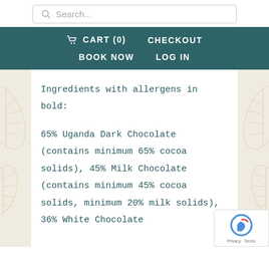Search...
CART (0)   CHECKOUT   BOOK NOW   LOG IN
Ingredients with allergens in bold:

65% Uganda Dark Chocolate (contains minimum 65% cocoa solids), 45% Milk Chocolate (contains minimum 45% cocoa solids, minimum 20% milk solids), 36% White Chocolate